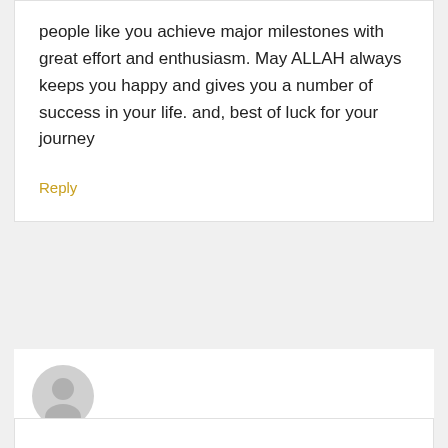people like you achieve major milestones with great effort and enthusiasm. May ALLAH always keeps you happy and gives you a number of success in your life. and, best of luck for your journey
Reply
Shahzad Jhatta (Dowee da dopatta)
29th July 2016 at 10:48 am